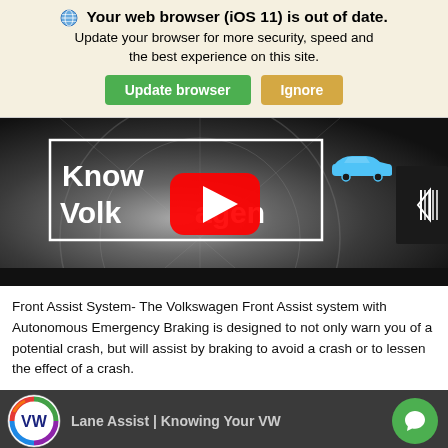🌐 Your web browser (iOS 11) is out of date. Update your browser for more security, speed and the best experience on this site. [Update browser] [Ignore]
[Figure (screenshot): YouTube-style video thumbnail showing a Volkswagen wheel/grille background with 'Know Volkswagen' text in a white-bordered box, a YouTube red play button overlay, a blue car icon, and a side navigation panel icon on the right edge.]
Front Assist System- The Volkswagen Front Assist system with Autonomous Emergency Braking is designed to not only warn you of a potential crash, but will assist by braking to avoid a crash or to lessen the effect of a crash.
[Figure (screenshot): Video thumbnail for 'Lane Assist | Knowing Your VW' featuring the VW rainbow logo on the left and gray title text on a dark background. A green chat bubble with a speech icon appears at the bottom right.]